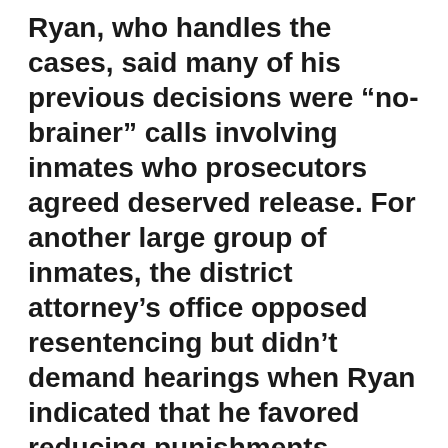Ryan, who handles the cases, said many of his previous decisions were “no-brainer” calls involving inmates who prosecutors agreed deserved release. For another large group of inmates, the district attorney’s office opposed resentencing but didn’t demand hearings when Ryan indicated that he favored reducing punishments.
The latest round of cases, which include Wallace’s, are more contentious.